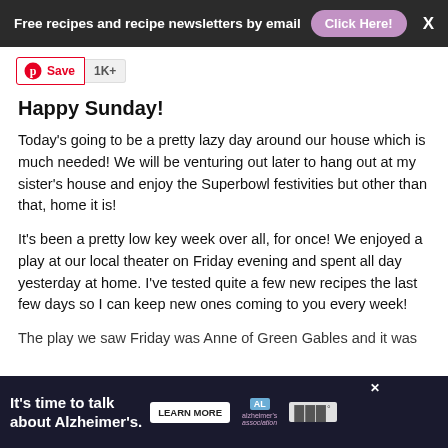Free recipes and recipe newsletters by email  Click Here!  X
[Figure (other): Pinterest Save button with 1K+ count]
Happy Sunday!
Today's going to be a pretty lazy day around our house which is much needed! We will be venturing out later to hang out at my sister's house and enjoy the Superbowl festivities but other than that, home it is!
It's been a pretty low key week over all, for once! We enjoyed a play at our local theater on Friday evening and spent all day yesterday at home. I've tested quite a few new recipes the last few days so I can keep new ones coming to you every week!
The play we saw Friday was Anne of Green Gables and it was
[Figure (infographic): Advertisement banner: It's time to talk about Alzheimer's. with Learn More button and Alzheimer's Association logo]